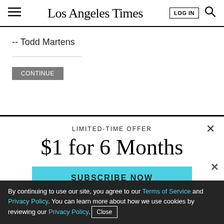Los Angeles Times
-- Todd Martens
LIMITED-TIME OFFER
$1 for 6 Months
SUBSCRIBE NOW
By continuing to use our site, you agree to our Terms of Service and Privacy Policy. You can learn more about how we use cookies by reviewing our Privacy Policy. Close
Season 3 of The Times entertainment podcast is here